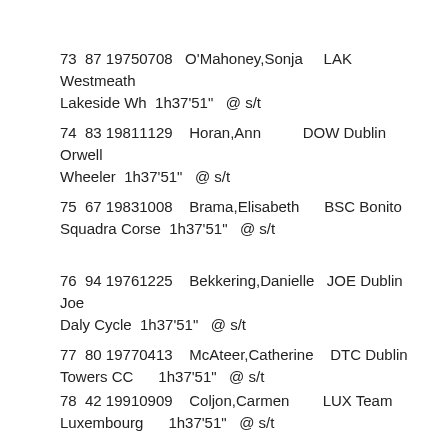73  87 19750708   O'Mahoney,Sonja     LAK Westmeath Lakeside Wh  1h37'51"   @ s/t
74  83 19811129   Horan,Ann           DOW Dublin Orwell Wheeler  1h37'51"   @ s/t
75  67 19831008   Brama,Elisabeth     BSC Bonito Squadra Corse  1h37'51"   @ s/t
76  94 19761225   Bekkering,Danielle   JOE Dublin Joe Daly Cycle  1h37'51"   @ s/t
77  80 19770413   McAteer,Catherine   DTC Dublin Towers CC      1h37'51"   @ s/t
78  42 19910909   Coljon,Carmen       LUX Team Luxembourg       1h37'51"   @ s/t